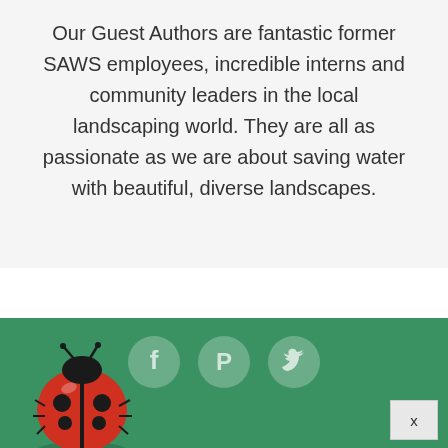Our Guest Authors are fantastic former SAWS employees, incredible interns and community leaders in the local landscaping world. They are all as passionate as we are about saving water with beautiful, diverse landscapes.
[Figure (illustration): Green footer section with three social media icon circles (Facebook, Pinterest, Twitter) and a ladybug illustration in the bottom left corner. A close button with 'x' is in the bottom right.]